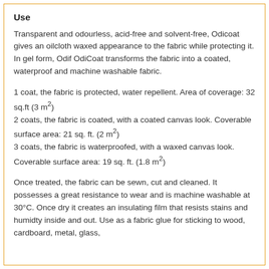Use
Transparent and odourless, acid-free and solvent-free, Odicoat gives an oilcloth waxed appearance to the fabric while protecting it. In gel form, Odif OdiCoat transforms the fabric into a coated, waterproof and machine washable fabric.
1 coat, the fabric is protected, water repellent. Area of coverage: 32 sq.ft (3 m²)
2 coats, the fabric is coated, with a coated canvas look. Coverable surface area: 21 sq. ft. (2 m²)
3 coats, the fabric is waterproofed, with a waxed canvas look. Coverable surface area: 19 sq. ft. (1.8 m²)
Once treated, the fabric can be sewn, cut and cleaned. It possesses a great resistance to wear and is machine washable at 30°C. Once dry it creates an insulating film that resists stains and humidty inside and out. Use as a fabric glue for sticking to wood, cardboard, metal, glass,